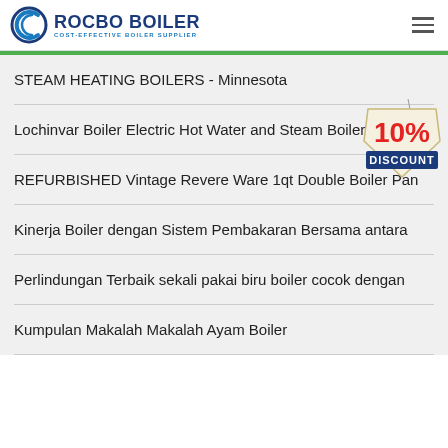ROCBO BOILER — COST-EFFECTIVE BOILER SUPPLIER
STEAM HEATING BOILERS - Minnesota
Lochinvar Boiler Electric Hot Water and Steam Boilers User
REFURBISHED Vintage Revere Ware 1qt Double Boiler Pan
Kinerja Boiler dengan Sistem Pembakaran Bersama antara
Perlindungan Terbaik sekali pakai biru boiler cocok dengan
Kumpulan Makalah Makalah Ayam Boiler
[Figure (other): 10% DISCOUNT promotional badge/tag overlaid on the page content]